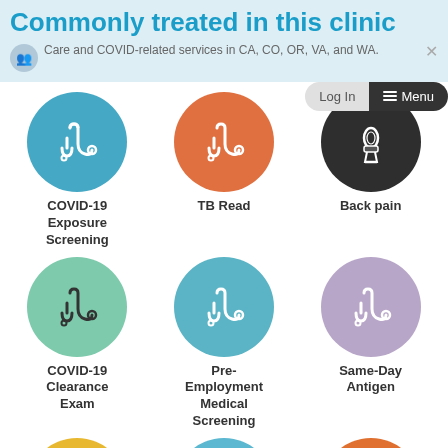Commonly treated in this clinic
Care and COVID-related services in CA, CO, OR, VA, and WA.
[Figure (screenshot): Grid of medical service icons with colored circles. Row 1: COVID-19 Exposure Screening (teal stethoscope), TB Read (orange stethoscope), Back pain (dark knee/joint icon). Row 2: COVID-19 Clearance Exam (green stethoscope), Pre-Employment Medical Screening (blue stethoscope), Same-Day Antigen (purple stethoscope). Row 3 partial: three partially visible circles (yellow, cyan, orange).]